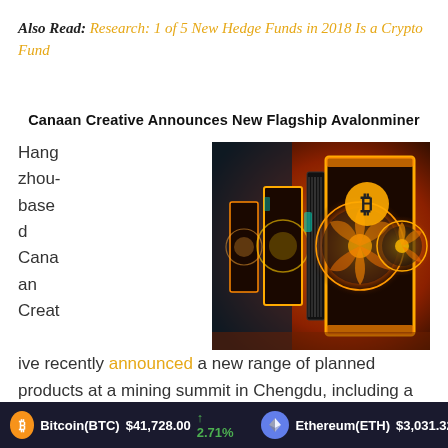Also Read: Research: 1 of 5 New Hedge Funds in 2018 Is a Crypto Fund
Canaan Creative Announces New Flagship Avalonminer
[Figure (photo): Photo of glowing orange-and-black cryptocurrency mining rigs with fan cooling systems and Bitcoin symbol, arranged in a row receding into the background.]
Hangzhou-based Canaan Creative recently announced a new range of planned products at a mining summit in Chengdu, including a new flagship mining rig,
Bitcoin(BTC) $41,728.00 ↑ 2.71%   Ethereum(ETH) $3,031.32